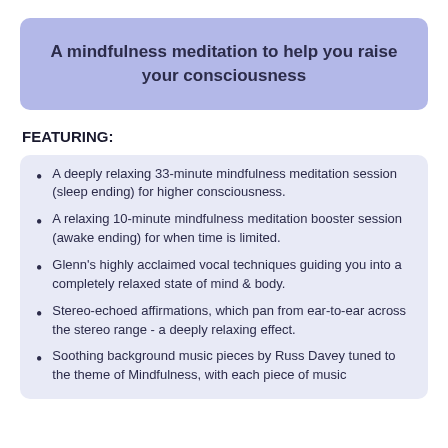A mindfulness meditation to help you raise your consciousness
FEATURING:
A deeply relaxing 33-minute mindfulness meditation session (sleep ending) for higher consciousness.
A relaxing 10-minute mindfulness meditation booster session (awake ending) for when time is limited.
Glenn's highly acclaimed vocal techniques guiding you into a completely relaxed state of mind & body.
Stereo-echoed affirmations, which pan from ear-to-ear across the stereo range - a deeply relaxing effect.
Soothing background music pieces by Russ Davey tuned to the theme of Mindfulness, with each piece of music